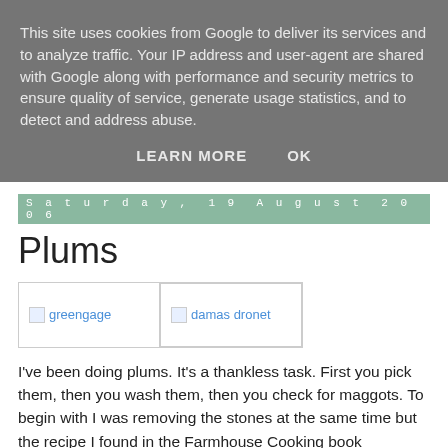This site uses cookies from Google to deliver its services and to analyze traffic. Your IP address and user-agent are shared with Google along with performance and security metrics to ensure quality of service, generate usage statistics, and to detect and address abuse.
LEARN MORE   OK
Saturday, 19 August 2006
Plums
[Figure (photo): Two broken image placeholders labeled 'greengage' and 'damas dronet']
I've been doing plums. It's a thankless task. First you pick them, then you wash them, then you check for maggots. To begin with I was removing the stones at the same time but the recipe I found in the Farmhouse Cooking book suggested you could remove them during cooking, so I started leaving them in. Trouble was it was about 1 a.m. when I finished preparation and I couldn't face staying up